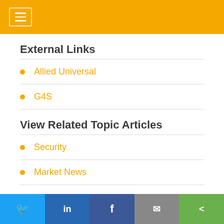External Links
Allied Universal
G4S
View Related Topic Articles
Security
Market News
Related Articles by Topic
Twitter LinkedIn Facebook Email Share